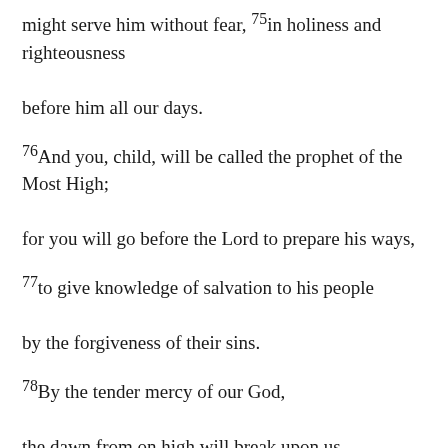might serve him without fear, 75in holiness and righteousness before him all our days.
76And you, child, will be called the prophet of the Most High; for you will go before the Lord to prepare his ways,
77to give knowledge of salvation to his people by the forgiveness of their sins.
78By the tender mercy of our God, the dawn from on high will break upon us,
79to give light to those who sit in darkness and in the shadow of death,
to guide our feet into the way of peace."